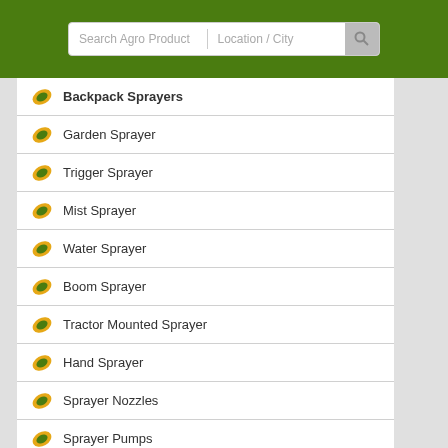Search Agro Product | Location / City
Backpack Sprayers
Garden Sprayer
Trigger Sprayer
Mist Sprayer
Water Sprayer
Boom Sprayer
Tractor Mounted Sprayer
Hand Sprayer
Sprayer Nozzles
Sprayer Pumps
Water Spray Gun
Water Spray Nozzle
Agricultural Machinery Equipment
Tractor And Equipment